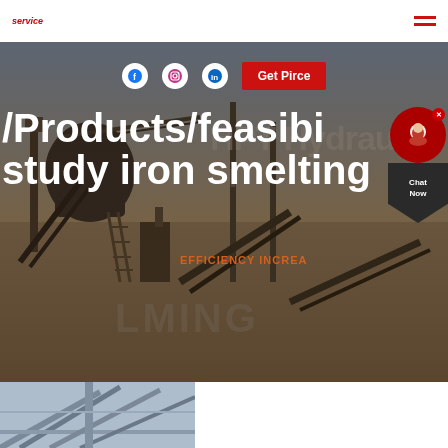service
[Figure (photo): Industrial mining/crushing plant machinery with conveyor belts and processing equipment against a blue sky, overlaid with watermark text 'HPT Hydraulic Cone Crusher LMING' and 'EFFICIENCY INCREASE' text. Page URL path shown as '/Products/feasibility study iron smelting' in large white bold text overlay.]
/Products/feasibi study iron smelting
[Figure (photo): Partial bottom section showing what appears to be a structural steel or industrial building interior with steel beams/trusses visible.]